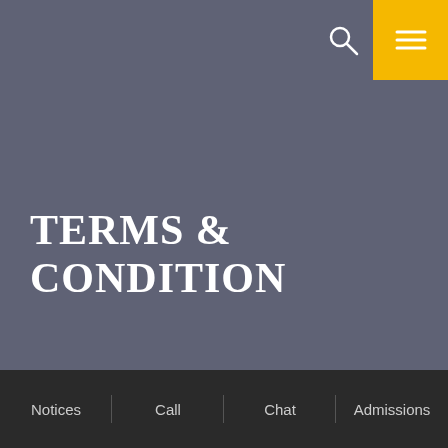[Figure (screenshot): Navigation bar with search icon and yellow hamburger menu button in top-right corner]
TERMS & CONDITION
Notices | Call | Chat | Admissions